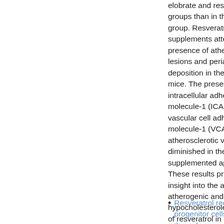elobrate and resve groups than in the c group. Resveratrol supplements attenu presence of atheros lesions and periarte deposition in the ap mice. The presence intracellular adhesi molecule-1 (ICAM- vascular cell adhesi molecule-1 (VCAM atherosclerotic vess diminished in the re supplemented apo E These results provid insight into the anti atherogenic and hypocholesterolemi of resveratrol in apo mice that were fed a diet"
Resveratrol reduces progenitor cells sen through augmentati telomerase activit